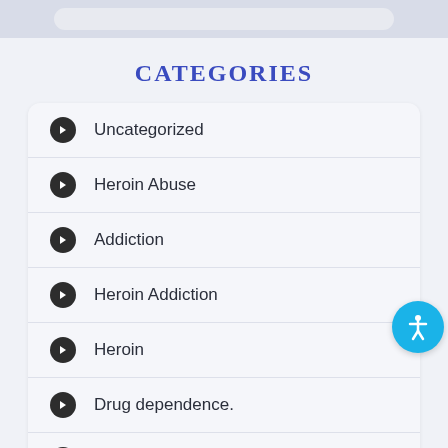CATEGORIES
Uncategorized
Heroin Abuse
Addiction
Heroin Addiction
Heroin
Drug dependence.
drug addiction